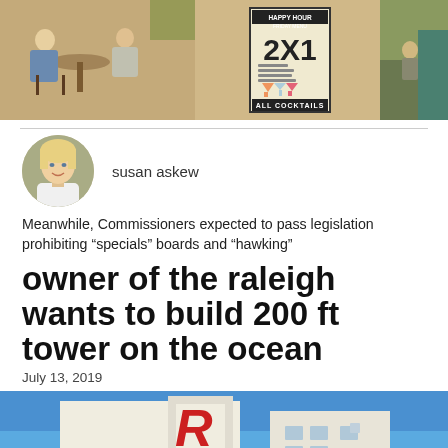[Figure (photo): Three-panel composite photo: left panel shows people sitting at outdoor cafe tables, middle panel shows a Happy Hour 2X1 cocktails sign, right panel shows outdoor seating area with greenery]
[Figure (photo): Circular headshot of Susan Askew, a blonde woman in a white top]
susan askew
Meanwhile, Commissioners expected to pass legislation prohibiting “specials” boards and “hawking”
owner of the raleigh wants to build 200 ft tower on the ocean
July 13, 2019
[Figure (photo): Bottom portion of a photo showing a white building with a large letter R sign against a blue sky, apparently the Raleigh Hotel in Miami Beach]